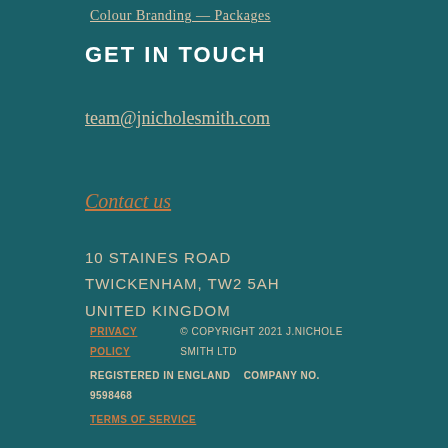Colour Branding — Packages
GET IN TOUCH
team@jnicholesmith.com
Contact us
10 STAINES ROAD
TWICKENHAM, TW2 5AH
UNITED KINGDOM
PRIVACY POLICY   © COPYRIGHT 2021 J.NICHOLE SMITH LTD
REGISTERED IN ENGLAND    COMPANY NO. 9598468
TERMS OF SERVICE